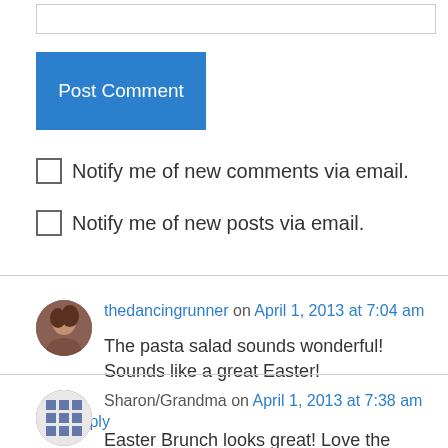[Figure (screenshot): Text input box (form field)]
Post Comment
Notify me of new comments via email.
Notify me of new posts via email.
thedancingrunner on April 1, 2013 at 7:04 am
The pasta salad sounds wonderful! Sounds like a great Easter!
↳ Reply
Sharon/Grandma on April 1, 2013 at 7:38 am
Easter Brunch looks great! Love the pictures to